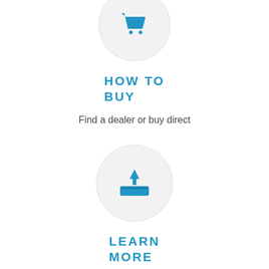[Figure (illustration): Blue shopping cart icon inside a light grey circle, partially cropped at top]
HOW TO BUY
Find a dealer or buy direct
[Figure (illustration): Blue inbox/download tray icon inside a light grey circle]
LEARN MORE
Download feature sheet